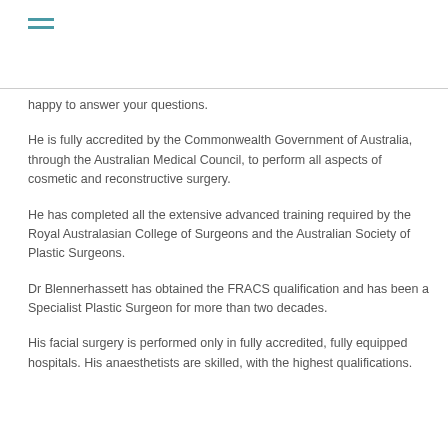≡
happy to answer your questions.
He is fully accredited by the Commonwealth Government of Australia, through the Australian Medical Council, to perform all aspects of cosmetic and reconstructive surgery.
He has completed all the extensive advanced training required by the Royal Australasian College of Surgeons and the Australian Society of Plastic Surgeons.
Dr Blennerhassett has obtained the FRACS qualification and has been a Specialist Plastic Surgeon for more than two decades.
His facial surgery is performed only in fully accredited, fully equipped hospitals. His anaesthetists are skilled, with the highest qualifications.